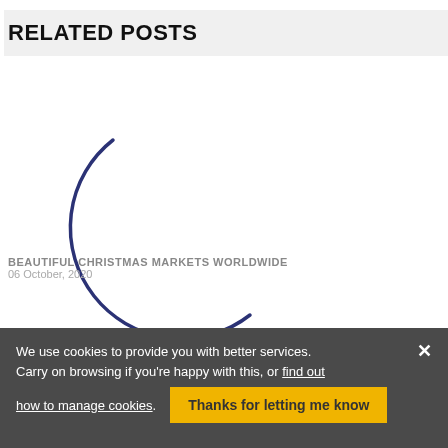RELATED POSTS
[Figure (other): Loading spinner — a partial dark navy blue arc/circle, representing a rotating loading indicator]
BEAUTIFUL CHRISTMAS MARKETS WORLDWIDE
06 October, 2020
We use cookies to provide you with better services. Carry on browsing if you're happy with this, or find out how to manage cookies.
Thanks for letting me know